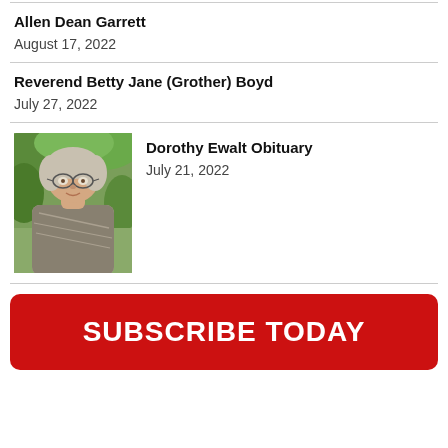Allen Dean Garrett
August 17, 2022
Reverend Betty Jane (Grother) Boyd
July 27, 2022
[Figure (photo): Portrait photo of an older woman with glasses wearing a patterned blouse, outdoors with green foliage background]
Dorothy Ewalt Obituary
July 21, 2022
SUBSCRIBE TODAY